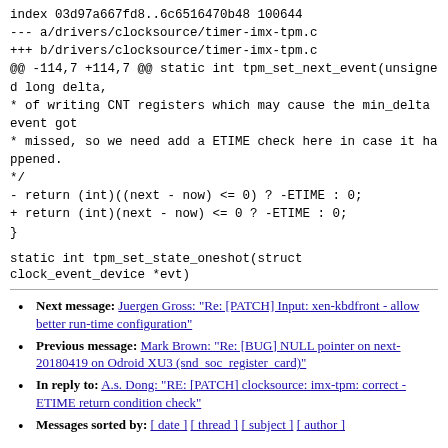index 03d97a667fd8..6c6516470b48 100644
--- a/drivers/clocksource/timer-imx-tpm.c
+++ b/drivers/clocksource/timer-imx-tpm.c
@@ -114,7 +114,7 @@ static int tpm_set_next_event(unsigned long delta,
 * of writing CNT registers which may cause the min_delta event got
 * missed, so we need add a ETIME check here in case it happened.
 */
- return (int)((next - now) <= 0) ? -ETIME : 0;
+ return (int)(next - now) <= 0 ? -ETIME : 0;
}
static int tpm_set_state_oneshot(struct clock_event_device *evt)
Next message: Juergen Gross: "Re: [PATCH] Input: xen-kbdfront - allow better run-time configuration"
Previous message: Mark Brown: "Re: [BUG] NULL pointer on next-20180419 on Odroid XU3 (snd_soc_register_card)"
In reply to: A.s. Dong: "RE: [PATCH] clocksource: imx-tpm: correct -ETIME return condition check"
Messages sorted by: [ date ] [ thread ] [ subject ] [ author ]